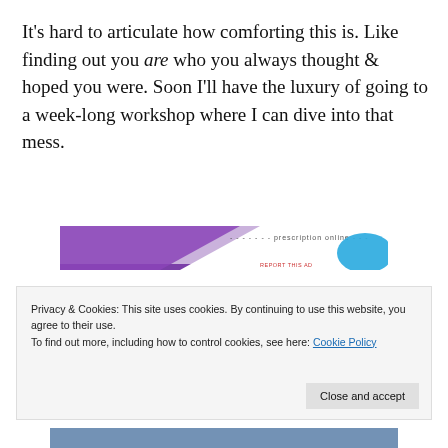It's hard to articulate how comforting this is. Like finding out you are who you always thought & hoped you were. Soon I'll have the luxury of going to a week-long workshop where I can dive into that mess.
[Figure (other): Advertisement banner with purple triangle shape on left side and blue shape on right, partially visible text about prescriptions online, with 'REPORT THIS AD' label in red.]
Privacy & Cookies: This site uses cookies. By continuing to use this website, you agree to their use.
To find out more, including how to control cookies, see here: Cookie Policy
[Figure (photo): Partial photo visible at the very bottom of the page, appears to show a person in blue jeans.]